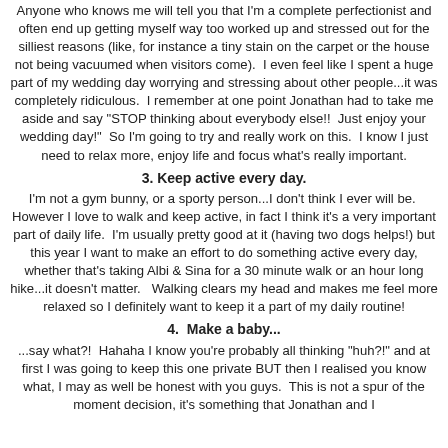Anyone who knows me will tell you that I'm a complete perfectionist and often end up getting myself way too worked up and stressed out for the silliest reasons (like, for instance a tiny stain on the carpet or the house not being vacuumed when visitors come).  I even feel like I spent a huge part of my wedding day worrying and stressing about other people...it was completely ridiculous.  I remember at one point Jonathan had to take me aside and say "STOP thinking about everybody else!!  Just enjoy your wedding day!"  So I'm going to try and really work on this.  I know I just need to relax more, enjoy life and focus what's really important.
3. Keep active every day.
I'm not a gym bunny, or a sporty person...I don't think I ever will be.  However I love to walk and keep active, in fact I think it's a very important part of daily life.  I'm usually pretty good at it (having two dogs helps!) but this year I want to make an effort to do something active every day, whether that's taking Albi & Sina for a 30 minute walk or an hour long hike...it doesn't matter.   Walking clears my head and makes me feel more relaxed so I definitely want to keep it a part of my daily routine!
4.  Make a baby...
...say what?!  Hahaha I know you're probably all thinking "huh?!" and at first I was going to keep this one private BUT then I realised you know what, I may as well be honest with you guys.  This is not a spur of the moment decision, it's something that Jonathan and I